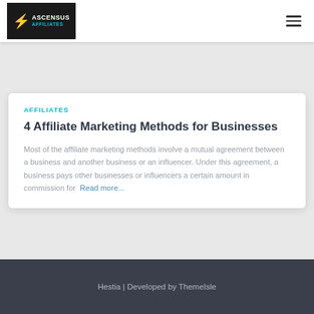Ascensus Affiliates
AFFILIATES
4 Affiliate Marketing Methods for Businesses
Most of the affiliate marketing methods involve a mutual agreement between a business and another business or an influencer. Under this agreement, a business pays other businesses or influencers a certain amount in commission for Read more...
Hestia | Developed by ThemeIsle